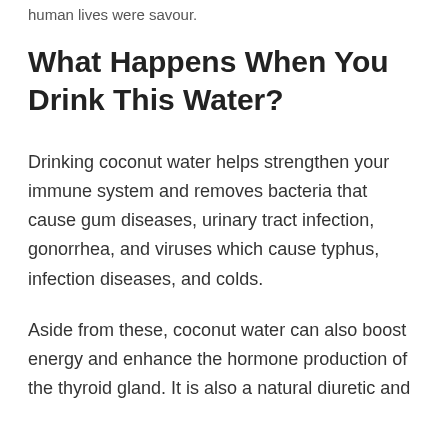human lives were savour.
What Happens When You Drink This Water?
Drinking coconut water helps strengthen your immune system and removes bacteria that cause gum diseases, urinary tract infection, gonorrhea, and viruses which cause typhus, infection diseases, and colds.
Aside from these, coconut water can also boost energy and enhance the hormone production of the thyroid gland. It is also a natural diuretic and